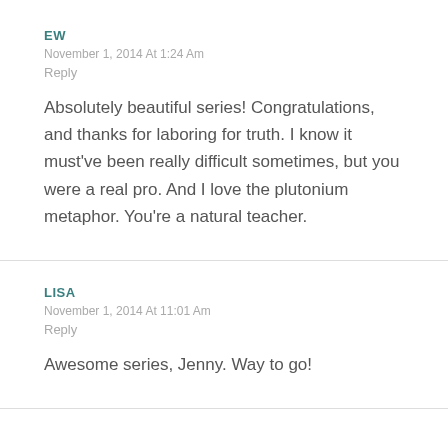EW
November 1, 2014 At 1:24 Am
Reply
Absolutely beautiful series! Congratulations, and thanks for laboring for truth. I know it must've been really difficult sometimes, but you were a real pro. And I love the plutonium metaphor. You're a natural teacher.
LISA
November 1, 2014 At 11:01 Am
Reply
Awesome series, Jenny. Way to go!